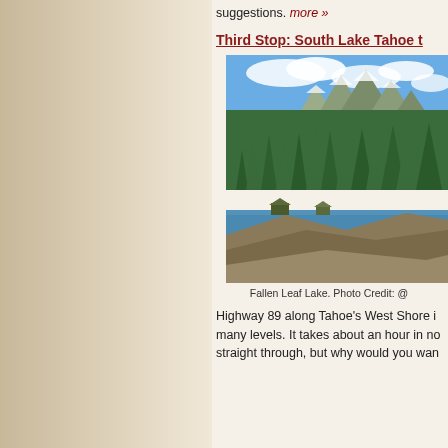suggestions. more »
Third Stop: South Lake Tahoe t…
[Figure (photo): Aerial view of Fallen Leaf Lake surrounded by pine trees and rocky cliffs with snow-capped mountains in background. Blue sky with clouds.]
Fallen Leaf Lake. Photo Credit: @…
Highway 89 along Tahoe's West Shore i… many levels. It takes about an hour in no… straight through, but why would you wan…